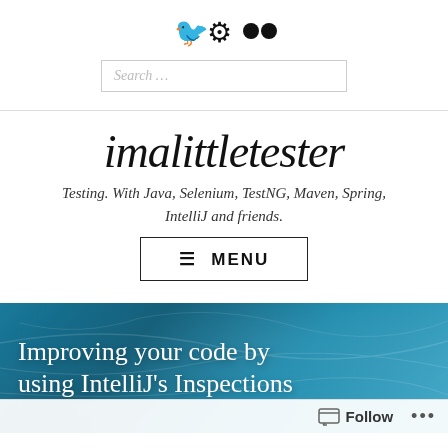[Figure (logo): Social media icons: Twitter bird, GitHub octocat, Flickr dots]
[Figure (other): Search input field with placeholder text 'Search ...']
imalittletester
Testing. With Java, Selenium, TestNG, Maven, Spring, IntelliJ and friends.
≡ MENU
Improving your code by using IntelliJ's Inspections
[Figure (other): Follow bar with follow icon, Follow text and ellipsis menu]